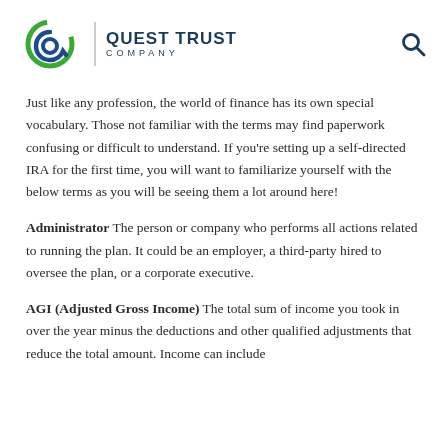QUEST TRUST COMPANY
Just like any profession, the world of finance has its own special vocabulary. Those not familiar with the terms may find paperwork confusing or difficult to understand. If you're setting up a self-directed IRA for the first time, you will want to familiarize yourself with the below terms as you will be seeing them a lot around here!
Administrator The person or company who performs all actions related to running the plan. It could be an employer, a third-party hired to oversee the plan, or a corporate executive.
AGI (Adjusted Gross Income) The total sum of income you took in over the year minus the deductions and other qualified adjustments that reduce the total amount. Income can include